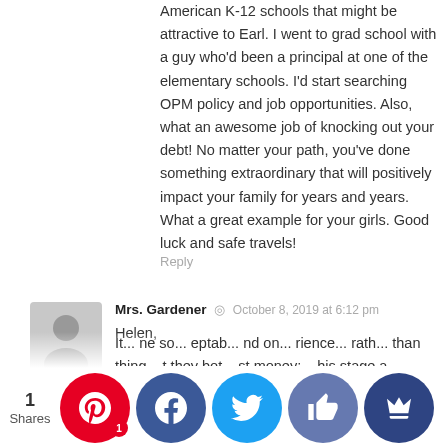American K-12 schools that might be attractive to Earl. I went to grad school with a guy who'd been a principal at one of the elementary schools. I'd start searching OPM policy and job opportunities. Also, what an awesome job of knocking out your debt! No matter your path, you've done something extraordinary that will positively impact your family for years and years. What a great example for your girls. Good luck and safe travels!
Reply
Mrs. Gardener  ◎  October 8, 2019 at 6:12 pm
Helen,
Take a step back from all the Japan advice and re-read what you wrote about your parents.
If you substitute "travel and life experiences" for "new car or a boat" you are getting set to repeat their roller coaster ride. You paid off a huge debt in one fell swoop and are now ready to give up a good paying secure job with health benefits and a pension.
It... ne so... eptab... nd on... rience... rath... than thing... t they bot... st money;... his stage a...
[Figure (infographic): Social sharing bar with share count '1 Shares' and social media buttons: Pinterest (red, with badge '1'), Facebook (dark blue), Twitter (light blue), Like/thumbs-up (medium blue), Crown (dark navy blue)]